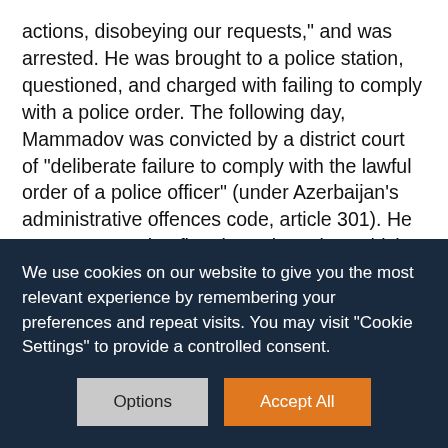actions, disobeying our requests," and was arrested. He was brought to a police station, questioned, and charged with failing to comply with a police order. The following day, Mammadov was convicted by a district court of "deliberate failure to comply with the lawful order of a police officer" (under Azerbaijan's administrative offences code, article 301). He was sentenced to five days' detention, which was later upheld by the Baku court of appeal.
Mammadov made an application to the
We use cookies on our website to give you the most relevant experience by remembering your preferences and repeat visits. You may visit "Cookie Settings" to provide a controlled consent.
Options
Accept All